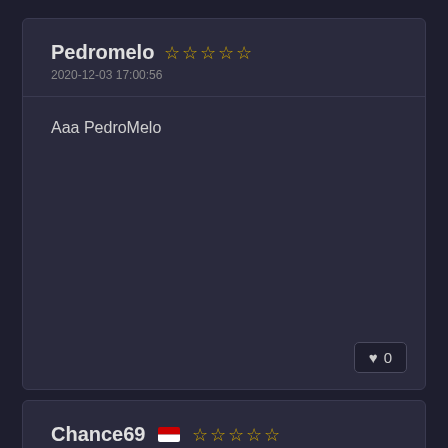Pedromelo ☆☆☆☆☆ 2020-12-03 17:00:56
Aaa PedroMelo
♥ 0
Chance69 🇮🇩 ☆☆☆☆☆ 2020-12-03 17:01:02